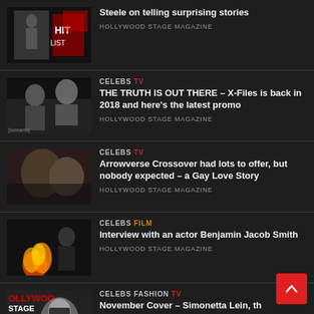Steele on telling surprising stories — HOLLYWOOD STAGE MAGAZINE
CELEBS TV — THE TRUTH IS OUT THERE – X-Files is back in 2018 and here's the latest promo — HOLLYWOOD STAGE MAGAZINE
CELEBS TV — Arrowverse Crossover had lots to offer, but nobody expected – a Gay Love Story — HOLLYWOOD STAGE MAGAZINE
CELEBS FILM — Interview with an actor Benjamin Jacob Smith — HOLLYWOOD STAGE MAGAZINE
CELEBS FASHION TV — November Cover – Simonetta Lein, th Wishmaker — HOLLYWOOD STAGE MAGAZINE